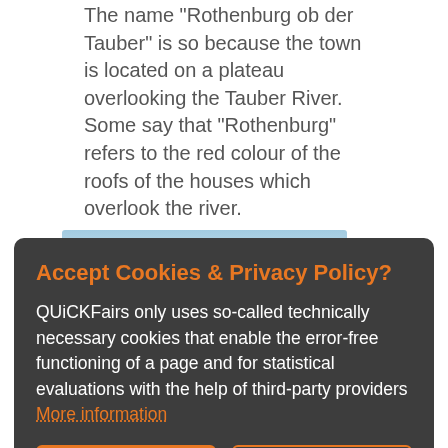The name "Rothenburg ob der Tauber" is so because the town is located on a plateau overlooking the Tauber River. Some say that "Rothenburg" refers to the red colour of the roofs of the houses which overlook the river.
[Figure (photo): Partial view of an image strip, appears to be a photo of Rothenburg ob der Tauber, partially obscured by the cookie consent overlay.]
Accept Cookies & Privacy Policy?
QUiCKFairs only uses so-called technically necessary cookies that enable the error-free functioning of a page and for statistical evaluations with the help of third-party providers More information
Accept Cookies
Customise Cookies
important manufacturing centre. Mercedes-Benz and Porsche